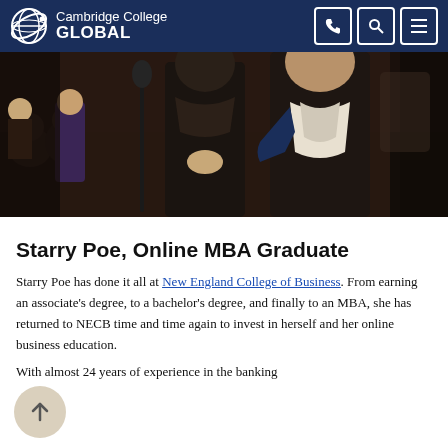Cambridge College GLOBAL
[Figure (photo): Graduation ceremony photo showing people in academic robes and mortarboard caps on stage, with audience in background]
Starry Poe, Online MBA Graduate
Starry Poe has done it all at New England College of Business. From earning an associate's degree, to a bachelor's degree, and finally to an MBA, she has returned to NECB time and time again to invest in herself and her online business education.
With almost 24 years of experience in the banking